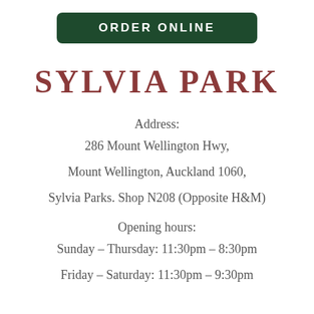[Figure (other): Dark green rounded rectangle button with white bold uppercase text 'ORDER ONLINE']
SYLVIA PARK
Address:
286 Mount Wellington Hwy,
Mount Wellington, Auckland 1060,
Sylvia Parks. Shop N208 (Opposite H&M)
Opening hours:
Sunday – Thursday: 11:30pm – 8:30pm
Friday – Saturday: 11:30pm – 9:30pm